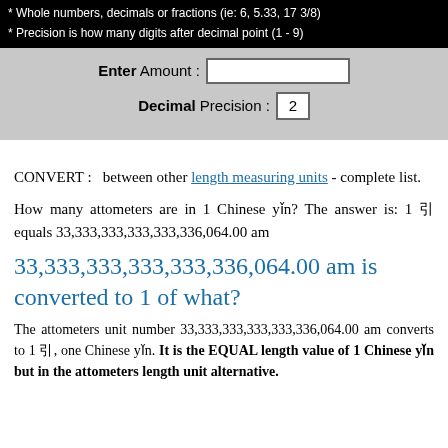* Whole numbers, decimals or fractions (ie: 6, 5.33, 17 3/8)
* Precision is how many digits after decimal point (1 - 9)
Enter Amount : [input box]
Decimal Precision : 2
CONVERT : between other length measuring units - complete list.
How many attometers are in 1 Chinese yǐn? The answer is: 1 引 equals 33,333,333,333,333,336,064.00 am
33,333,333,333,333,336,064.00 am is converted to 1 of what?
The attometers unit number 33,333,333,333,333,336,064.00 am converts to 1 引, one Chinese yǐn. It is the EQUAL length value of 1 Chinese yǐn but in the attometers length unit alternative.